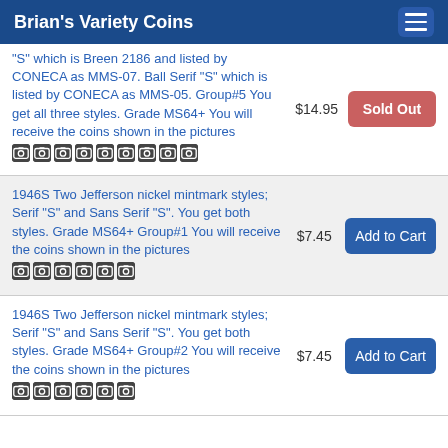Brian's Variety Coins
"S" which is Breen 2186 and listed by CONECA as MMS-07. Ball Serif "S" which is listed by CONECA as MMS-05. Group#5 You get all three styles. Grade MS64+ You will receive the coins shown in the pictures
1946S Two Jefferson nickel mintmark styles; Serif "S" and Sans Serif "S". You get both styles. Grade MS64+ Group#1 You will receive the coins shown in the pictures
1946S Two Jefferson nickel mintmark styles; Serif "S" and Sans Serif "S". You get both styles. Grade MS64+ Group#2 You will receive the coins shown in the pictures